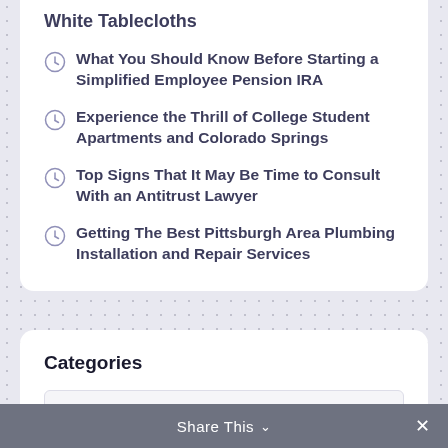White Tablecloths
What You Should Know Before Starting a Simplified Employee Pension IRA
Experience the Thrill of College Student Apartments and Colorado Springs
Top Signs That It May Be Time to Consult With an Antitrust Lawyer
Getting The Best Pittsburgh Area Plumbing Installation and Repair Services
Categories
Select Category
Share This